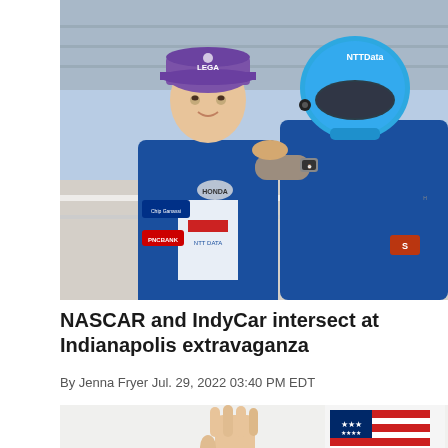[Figure (photo): Two men in blue racing suits at Indianapolis Motor Speedway. The younger man on the left wears a purple cap with 'LEGA' text and a blue IndyCar suit with Honda, NTT Data, PNC Bank logos. The older man on the right wears a blue NTT Data helmet and is adjusting something at his chin. Both are wearing blue uniforms.]
NASCAR and IndyCar intersect at Indianapolis extravaganza
By Jenna Fryer Jul. 29, 2022 03:40 PM EDT
[Figure (photo): Partial photo showing a hand raised with fingers spread and what appears to be an American flag in the background, against a light sky.]